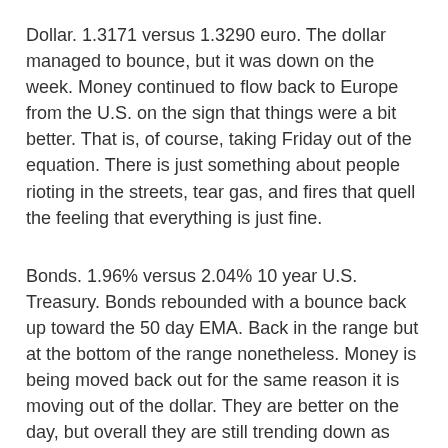Dollar. 1.3171 versus 1.3290 euro. The dollar managed to bounce, but it was down on the week. Money continued to flow back to Europe from the U.S. on the sign that things were a bit better. That is, of course, taking Friday out of the equation. There is just something about people rioting in the streets, tear gas, and fires that quell the feeling that everything is just fine.
Bonds. 1.96% versus 2.04% 10 year U.S. Treasury. Bonds rebounded with a bounce back up toward the 50 day EMA. Back in the range but at the bottom of the range nonetheless. Money is being moved back out for the same reason it is moving out of the dollar. They are better on the day, but overall they are still trending down as money flows back to Europe.
Gold. 1,725.30, -15.90. Gold was up and down, but it still finished lower. It did rebound after hours and improve itself. It still looks like it will try to make a bounce. It held the 20